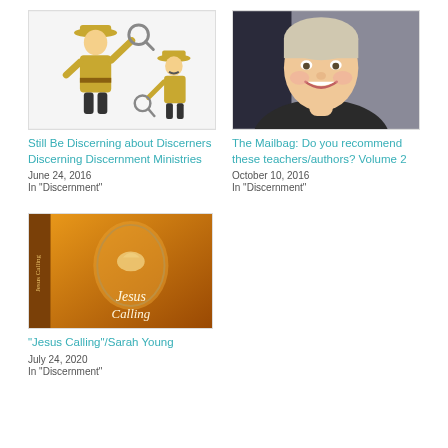[Figure (illustration): Two cartoon detectives in trench coats holding magnifying glasses]
Still Be Discerning about Discerners Discerning Discernment Ministries
June 24, 2016
In "Discernment"
[Figure (photo): Smiling woman with short blonde/grey hair]
The Mailbag: Do you recommend these teachers/authors? Volume 2
October 10, 2016
In "Discernment"
[Figure (photo): Jesus Calling book cover by Sarah Young with orange/gold tones]
“Jesus Calling”/Sarah Young
July 24, 2020
In "Discernment"